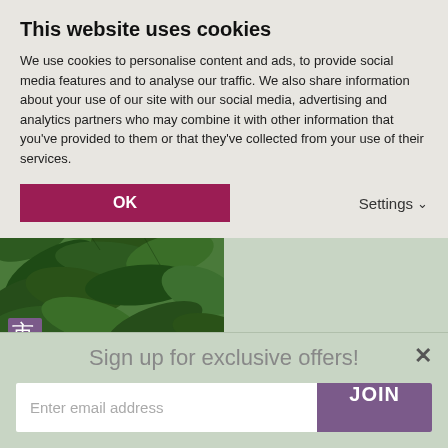This website uses cookies
We use cookies to personalise content and ads, to provide social media features and to analyse our traffic. We also share information about your use of our site with our social media, advertising and analytics partners who may combine it with other information that you've provided to them or that they've collected from your use of their services.
OK
Settings
[Figure (photo): Close-up photo of green plant leaves (Laburnum alpinum 'Pendulum') with a small Japanese/Chinese character icon in the bottom-left corner of the image.]
Laburnum alpinum 'Pendulum'
0 Reviews
Sign up for exclusive offers!
Enter email address
JOIN